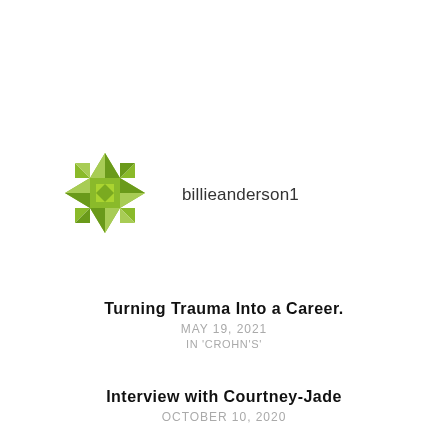[Figure (logo): Green geometric snowflake/star avatar icon made of triangles and diamond shapes]
billieanderson1
Turning Trauma Into a Career.
MAY 19, 2021
IN 'CROHN'S'
Interview with Courtney-Jade
OCTOBER 10, 2020